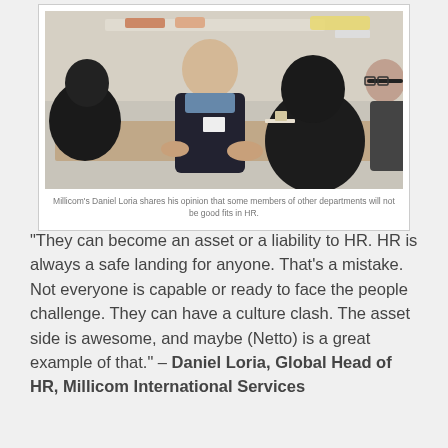[Figure (photo): Photo of Millicom's Daniel Loria sitting at a table, speaking and sharing his opinion with other people around him in what appears to be a meeting or workshop setting.]
Millicom's Daniel Loria shares his opinion that some members of other departments will not be good fits in HR.
“They can become an asset or a liability to HR. HR is always a safe landing for anyone. That’s a mistake. Not everyone is capable or ready to face the people challenge. They can have a culture clash. The asset side is awesome, and maybe (Netto) is a great example of that.” – Daniel Loria, Global Head of HR, Millicom International Services